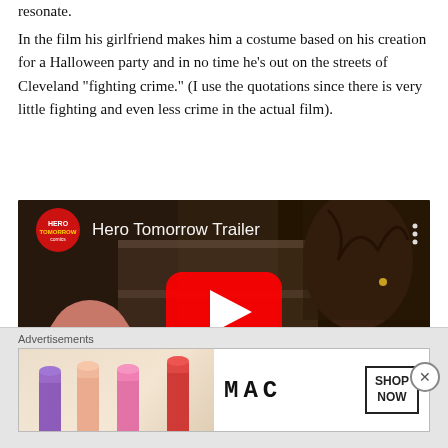resonate.
In the film his girlfriend makes him a costume based on his creation for a Halloween party and in no time he's out on the streets of Cleveland “fighting crime.” (I use the quotations since there is very little fighting and even less crime in the actual film).
[Figure (screenshot): YouTube video embed showing 'Hero Tomorrow Trailer' with a red circle logo badge in the top-left corner, a YouTube play button in the center, and a film still showing mannequin heads on the left and a person on the right]
Advertisements
[Figure (photo): MAC Cosmetics advertisement banner showing colorful lipsticks on the left and MAC logo with SHOP NOW button on the right]